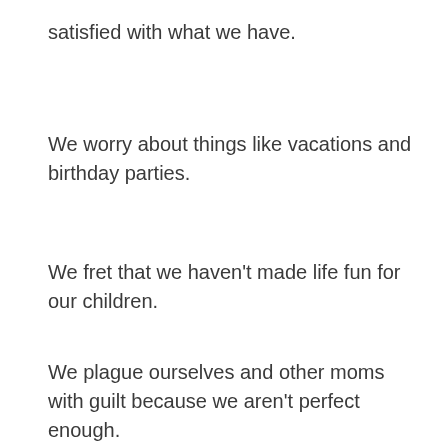satisfied with what we have.
We worry about things like vacations and birthday parties.
We fret that we haven't made life fun for our children.
We plague ourselves and other moms with guilt because we aren't perfect enough.